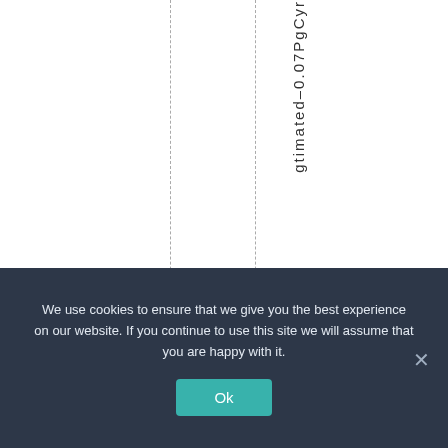[Figure (other): Partial table view with dashed vertical column dividers and vertical rotated text reading 'gtimated–0.07PgCyr' in the rightmost visible column. Left columns are empty white space.]
We use cookies to ensure that we give you the best experience on our website. If you continue to use this site we will assume that you are happy with it.  Ok  ×